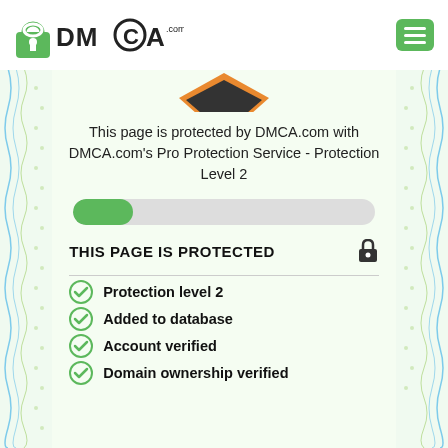[Figure (logo): DMCA.com logo with padlock icon and green menu button in top navigation bar]
This page is protected by DMCA.com with DMCA.com's Pro Protection Service - Protection Level 2
[Figure (infographic): Green progress bar indicator showing partial completion on grey track]
THIS PAGE IS PROTECTED
Protection level 2
Added to database
Account verified
Domain ownership verified